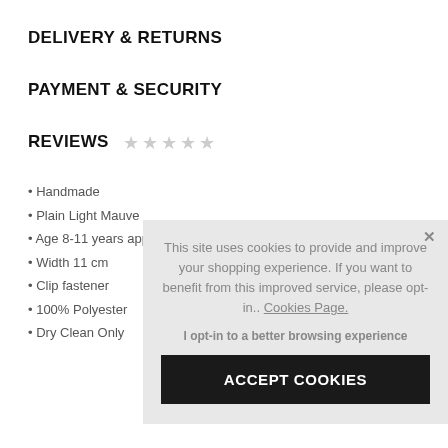DELIVERY & RETURNS
PAYMENT & SECURITY
REVIEWS ★ ★ ★ ★ ★
Handmade
Plain Light Mauve
Age 8-11 years app
Width 11 cm
Clip fastener
100% Polyester
Dry Clean Only
This site uses cookies to provide and improve your shopping experience. If you want to benefit from this improved service, please opt-in.. Cookies Page.
I opt-in to a better browsing experience
ACCEPT COOKIES